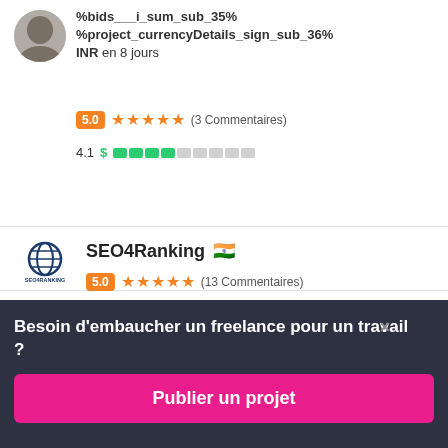%bids___i_sum_sub_35%
%project_currencyDetails_sign_sub_36%
INR en 8 jours
5.0 ★★★★★ (3 Commentaires)
4.1 $ ████░░░░░
SEO4Ranking 🇮🇳
5.0 ★★★★★ (13 Commentaires)
Besoin d'embaucher un freelance pour un travail ?
Publier un projet